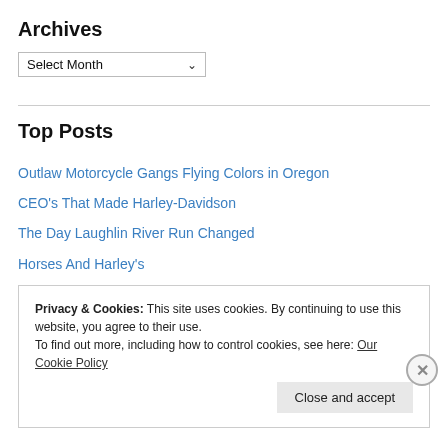Archives
Select Month
Top Posts
Outlaw Motorcycle Gangs Flying Colors in Oregon
CEO's That Made Harley-Davidson
The Day Laughlin River Run Changed
Horses And Harley's
Vagos MC Meeting In Grants Pass
Privacy & Cookies: This site uses cookies. By continuing to use this website, you agree to their use. To find out more, including how to control cookies, see here: Our Cookie Policy
Close and accept